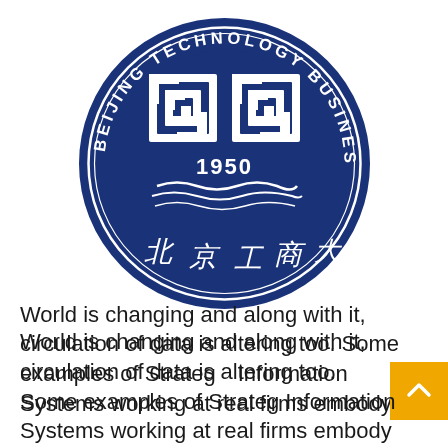[Figure (logo): Beijing Technology and Business University seal/logo — dark navy blue circular emblem with 'BEIJING TECHNOLOGY BUSINESS UNIVERSITY' text around the ring, a geometric interlocking square motif in the center, '1950' below the motif, and Chinese calligraphy characters '北京工商大学' in the lower portion of the circle.]
World is changing and along with it, circulation of data is altering too. Some examples of Strategic Information Systems working at real firms embody AIRB…